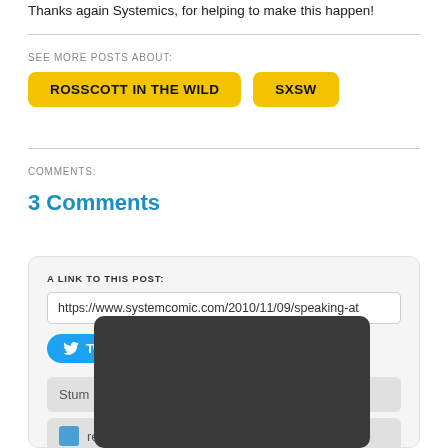Thanks again Systemics, for helping to make this happen!
SEE MORE POSTS ABOUT:
ROSSCOTT IN THE WILD
SXSW
COMMENTS:
3 Comments
A LINK TO THIS POST:
https://www.systemcomic.com/2010/11/09/speaking-at
Tweet
Stum
re